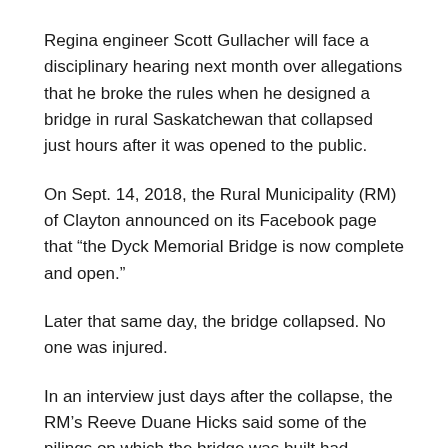Regina engineer Scott Gullacher will face a disciplinary hearing next month over allegations that he broke the rules when he designed a bridge in rural Saskatchewan that collapsed just hours after it was opened to the public.
On Sept. 14, 2018, the Rural Municipality (RM) of Clayton announced on its Facebook page that “the Dyck Memorial Bridge is now complete and open.”
Later that same day, the bridge collapsed. No one was injured.
In an interview just days after the collapse, the RM’s Reeve Duane Hicks said some of the pilings on which the bridge was built had collapsed.